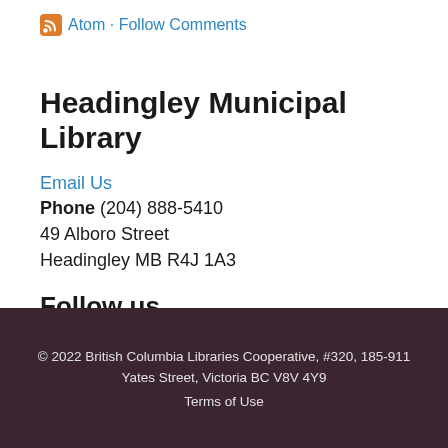Atom · Follow Comments
Headingley Municipal Library
Email Us
Phone (204) 888-5410
49 Alboro Street
Headingley MB R4J 1A3
Follow us
[Figure (logo): Instagram icon in pink/red square]
© 2022 British Columbia Libraries Cooperative, #320, 185-911 Yates Street, Victoria BC V8V 4Y9
Terms of Use